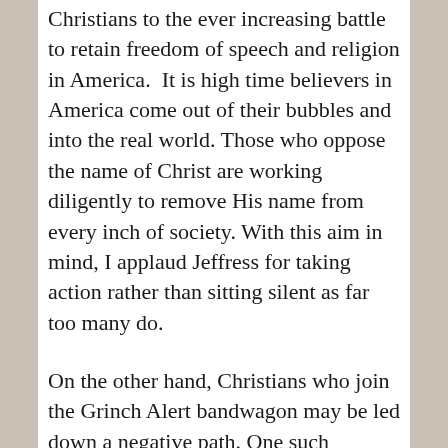Christians to the ever increasing battle to retain freedom of speech and religion in America. It is high time believers in America come out of their bubbles and into the real world. Those who oppose the name of Christ are working diligently to remove His name from every inch of society. With this aim in mind, I applaud Jeffress for taking action rather than sitting silent as far too many do.
On the other hand, Christians who join the Grinch Alert bandwagon may be led down a negative path. One such follower said of Delta Airlines, “Though I am a frequent flyer with Delta they did not mind offending me, a Christian, with an email stating “Happy Holidays from the Delta Family”. How has “Happy Holidays” become so “offensive” to Christians? Would this person have been so offended if they had not been directed to the Grinch Alert”